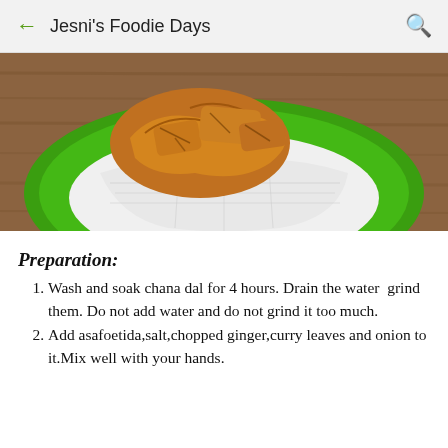Jesni's Foodie Days
[Figure (photo): Fried chana dal fritters (pakoras) served on a green plate lined with white paper towels, placed on a wooden surface]
Preparation:
Wash and soak chana dal for 4 hours. Drain the water  grind them. Do not add water and do not grind it too much.
Add asafoetida,salt,chopped ginger,curry leaves and onion to it.Mix well with your hands.